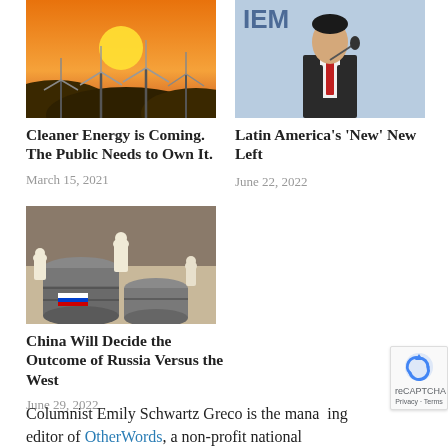[Figure (photo): Wind turbines at sunset/orange sky]
Cleaner Energy is Coming. The Public Needs to Own It.
March 15, 2021
[Figure (photo): Person in suit speaking at podium with microphone, IEM logo visible in background]
Latin America's 'New' New Left
June 22, 2022
[Figure (photo): Chess pieces and oil barrels with Russian flag, strategic game metaphor]
China Will Decide the Outcome of Russia Versus the West
June 29, 2022
Columnist Emily Schwartz Greco is the managing editor of OtherWords, a non-profit national